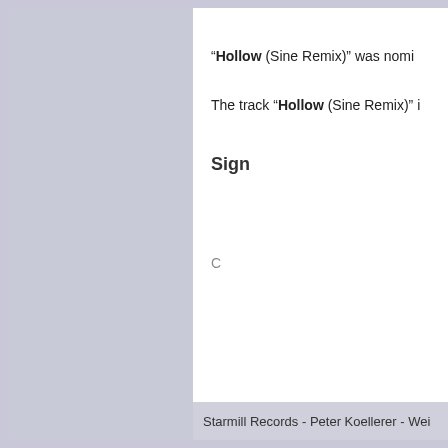“Hollow (Sine Remix)” was nomi...
The track “Hollow (Sine Remix)” i...
Sign ...
C...
Starmill Records - Peter Koellerer - Wei...